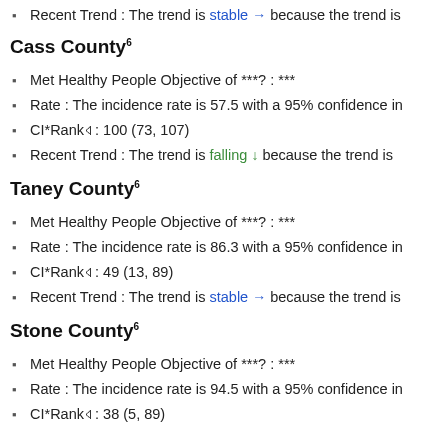Recent Trend : The trend is stable → because the trend is
Cass County⁶
Met Healthy People Objective of ***? : ***
Rate : The incidence rate is 57.5 with a 95% confidence in
CI*Rank⋔ : 100 (73, 107)
Recent Trend : The trend is falling ↓ because the trend is
Taney County⁶
Met Healthy People Objective of ***? : ***
Rate : The incidence rate is 86.3 with a 95% confidence in
CI*Rank⋔ : 49 (13, 89)
Recent Trend : The trend is stable → because the trend is
Stone County⁶
Met Healthy People Objective of ***? : ***
Rate : The incidence rate is 94.5 with a 95% confidence in
CI*Rank⋔ : 38 (5, 89)